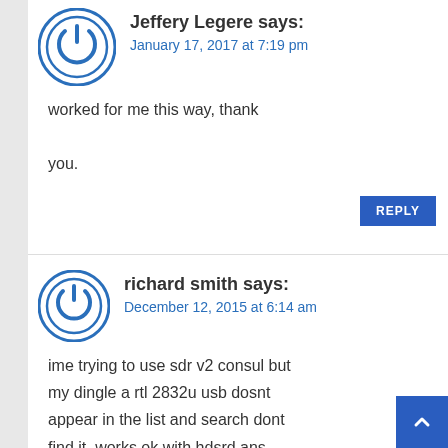Jeffery Legere says:
January 17, 2017 at 7:19 pm
worked for me this way, thank you.
REPLY
richard smith says:
December 12, 2015 at 6:14 am
ime trying to use sdr v2 consul but my dingle a rtl 2832u usb dosnt appear in the list and search dont find it. works ok with hdsrd ans sdr sharp pc is hp elitebook i5